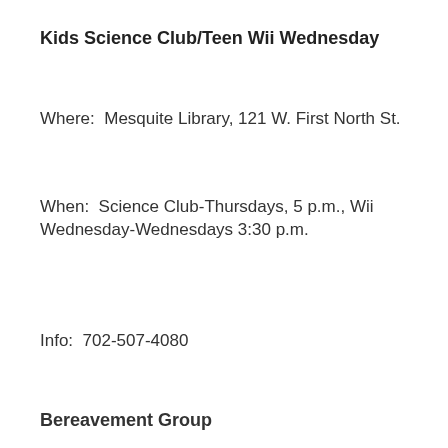Kids Science Club/Teen Wii Wednesday
Where:  Mesquite Library, 121 W. First North St.
When:  Science Club-Thursdays, 5 p.m., Wii Wednesday-Wednesdays 3:30 p.m.
Info:  702-507-4080
Bereavement Group
Where:  Mesquite Library, 121 W. First North St.
[Figure (screenshot): Amazon advertisement banner with infolinks label, Amazon logo, title 'Amazon.com: Online Shopping for Everyone', description text, amazon.com URL, a blue circular arrow button, and a close button.]